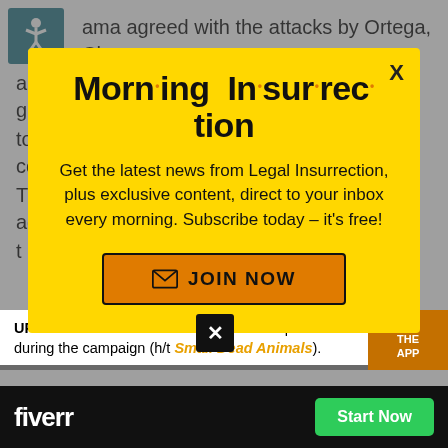ama agreed with the attacks by Ortega, Chavez and others, then Obama should have had the guts to say so, and dealt with the domestic consequences. That would have been brave. If Obama didn't agree t
[Figure (screenshot): Yellow modal popup for Morning Insurrection newsletter with title, body text, and JOIN NOW button]
UPDATE: Ann Althouse has a video compilation of Obama's ... during the campaign (h/t Small Dead Animals).
[Figure (logo): Fiverr banner advertisement with Start Now button]